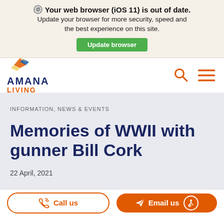[Figure (screenshot): Browser update warning banner with gear icon, bold title 'Your web browser (iOS 11) is out of date.', subtext about updating, and a green 'Update browser' button]
[Figure (logo): Amana Living logo with kite/diamond icon above text 'AMANA LIVING' in navy and orange, with orange search and hamburger menu icons on the right]
INFORMATION, NEWS & EVENTS
Memories of WWII with gunner Bill Cork
22 April, 2021
[Figure (infographic): Bottom navigation bar with 'Call us' outlined orange button and 'Email us' filled orange button with accessibility icon]